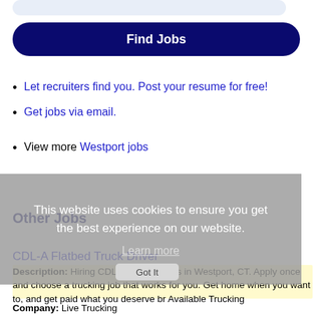[Figure (other): Search input bar at top, light blue/grey rounded rectangle]
Find Jobs
Let recruiters find you. Post your resume for free!
Get jobs via email.
View more Westport jobs
This website uses cookies to ensure you get the best experience on our website.
Learn more
Other Jobs
CDL-A Flatbed Truck Driver
Description: Hiring CDL Flatbed drivers in Westport, CT. Apply once and choose a trucking job that works for you. Get home when you want to, and get paid what you deserve br Available Trucking
Company: Live Trucking